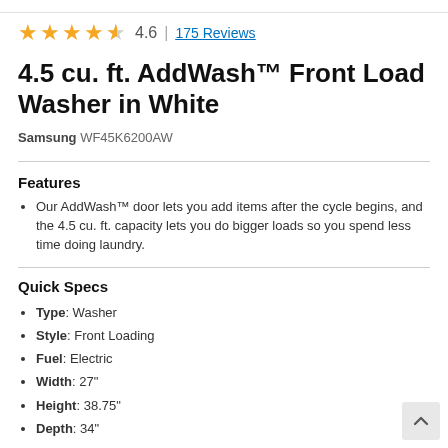4.6 | 175 Reviews
4.5 cu. ft. AddWash™ Front Load Washer in White
Samsung WF45K6200AW
Features
Our AddWash™ door lets you add items after the cycle begins, and the 4.5 cu. ft. capacity lets you do bigger loads so you spend less time doing laundry.
Quick Specs
Type: Washer
Style: Front Loading
Fuel: Electric
Width: 27"
Height: 38.75"
Depth: 34"